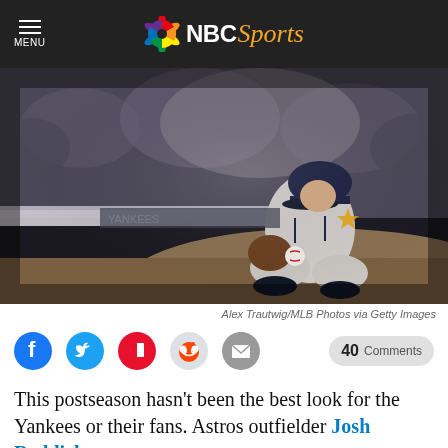NBC Sports
[Figure (photo): Houston Astros player in gray uniform crouching on the pitcher's mound holding a baseball, with blurred crowd in background at night game]
Alex Trautwig/MLB Photos via Getty Images
[Figure (infographic): Social sharing buttons: Facebook, Twitter, Flipboard, Reddit, Email, and a 40 Comments button]
This postseason hasn't been the best look for the Yankees or their fans. Astros outfielder Josh Reddick